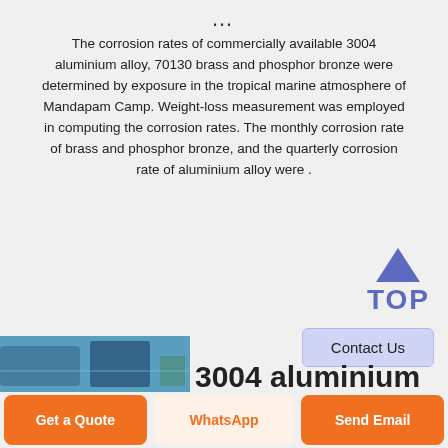...
The corrosion rates of commercially available 3004 aluminium alloy, 70130 brass and phosphor bronze were determined by exposure in the tropical marine atmosphere of Mandapam Camp. Weight-loss measurement was employed in computing the corrosion rates. The monthly corrosion rate of brass and phosphor bronze, and the quarterly corrosion rate of aluminium alloy were .
[Figure (other): Back to top button with blue triangle arrow and 'TOP' label in blue]
Contact Us
[Figure (photo): Industrial or materials science photo showing blue equipment]
3004 aluminium
Get a Quote
WhatsApp
Send Email